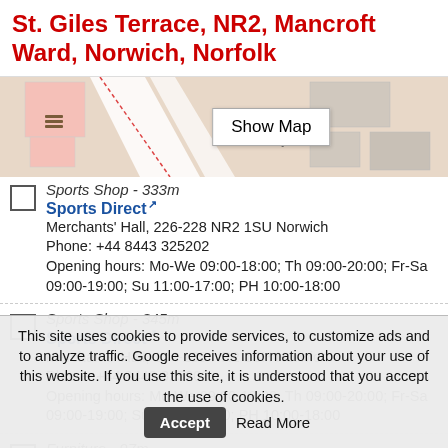St. Giles Terrace, NR2, Mancroft Ward, Norwich, Norfolk
[Figure (map): Partial street map showing St. Giles Terrace area with a 'Show Map' button overlay]
Sports Shop - 333m
Sports Direct
Merchants' Hall, 226-228 NR2 1SU Norwich
Phone: +44 8443 325202
Opening hours: Mo-We 09:00-18:00; Th 09:00-20:00; Fr-Sa 09:00-19:00; Su 11:00-17:00; PH 10:00-18:00
Sports Shop - 345m
Sports Direct
Merchants' Hall, 134-135 NR2 1SH Norwich
Phone: +44 8443 325202
Opening hours: Mo-We 09:00-18:00; Th 09:00-20:00; Fr-Sa 09:00-19:00; Su 11:00-17:00; PH 10:00-18:00
Furniture - 97m
Country and Eastern
This site uses cookies to provide services, to customize ads and to analyze traffic. Google receives information about your use of this website. If you use this site, it is understood that you accept the use of cookies.